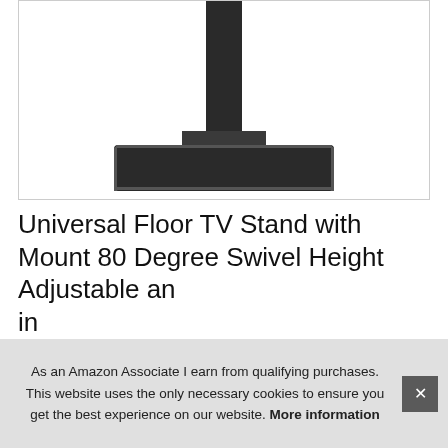[Figure (photo): Bottom portion of a black universal floor TV stand showing the vertical pole and rectangular flat base on a white background]
Universal Floor TV Stand with Mount 80 Degree Swivel Height Adjustable an inc Co
As an Amazon Associate I earn from qualifying purchases. This website uses the only necessary cookies to ensure you get the best experience on our website. More information